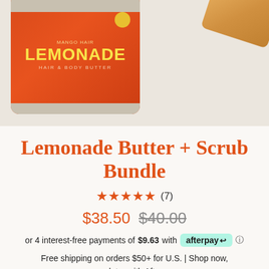[Figure (photo): Product photo showing a red cylindrical tin labeled 'LEMONADE HAIR & BODY BUTTER' and a wooden-topped jar (scrub) on a light beige background.]
Lemonade Butter + Scrub Bundle
★★★★★ (7)
$38.50  $40.00
or 4 interest-free payments of $9.63 with afterpay ⓘ
Free shipping on orders $50+ for U.S. | Shop now, pay later with Afterpay